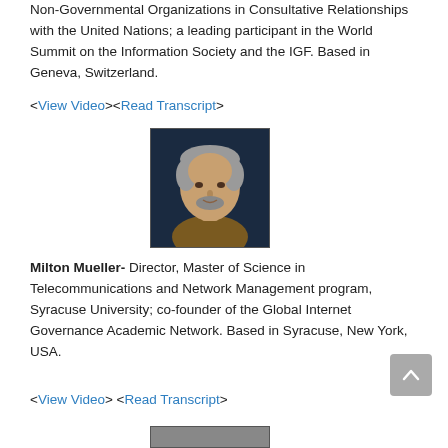Non-Governmental Organizations in Consultative Relationships with the United Nations; a leading participant in the World Summit on the Information Society and the IGF. Based in Geneva, Switzerland.
<View Video><Read Transcript>
[Figure (photo): Headshot photo of Milton Mueller, a middle-aged man with short graying hair and a beard, wearing a dark patterned shirt, against a dark background.]
Milton Mueller- Director, Master of Science in Telecommunications and Network Management program, Syracuse University; co-founder of the Global Internet Governance Academic Network. Based in Syracuse, New York, USA.
<View Video> <Read Transcript>